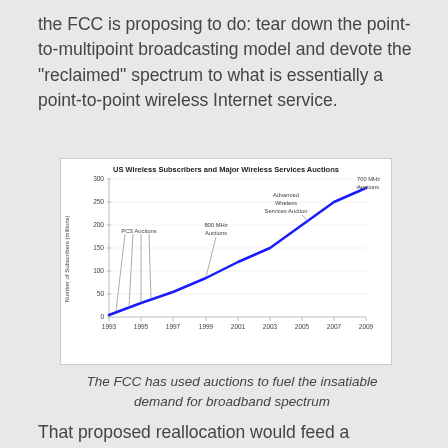the FCC is proposing to do: tear down the point-to-multipoint broadcasting model and devote the “reclaimed” spectrum to what is essentially a point-to-point wireless Internet service.
[Figure (line-chart): US Wireless Subscribers and Major Wireless Services Auctions]
The FCC has used auctions to fuel the insatiable demand for broadband spectrum
That proposed reallocation would feed a bottomless